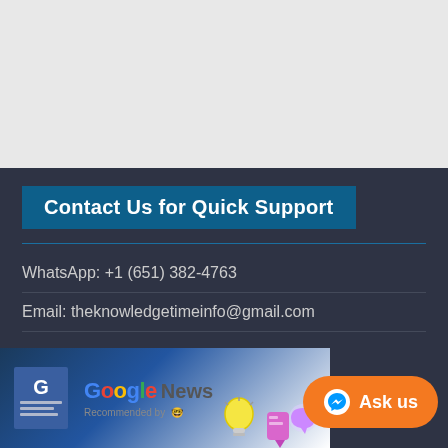Contact Us for Quick Support
WhatsApp: +1 (651) 382-4763
Email: theknowledgetimeinfo@gmail.com
[Figure (logo): Google News logo with recommended by text and illustration]
[Figure (other): Orange Ask us button with Messenger icon]